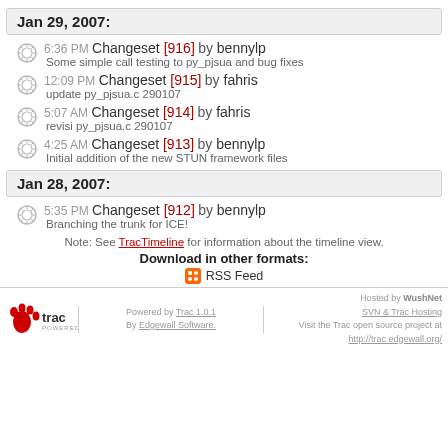Jan 29, 2007:
6:36 PM Changeset [916] by bennylp — Some simple call testing to py_pjsua and bug fixes
12:09 PM Changeset [915] by fahris — update py_pjsua.c 290107
5:07 AM Changeset [914] by fahris — revisi py_pjsua.c 290107
4:25 AM Changeset [913] by bennylp — Initial addition of the new STUN framework files
Jan 28, 2007:
5:35 PM Changeset [912] by bennylp — Branching the trunk for ICE!
Note: See TracTimeline for information about the timeline view.
Download in other formats:
RSS Feed
Powered by Trac 1.0.1 By Edgewall Software. | Hosted by WushNet SVN & Trac Hosting | Visit the Trac open source project at http://trac.edgewall.org/